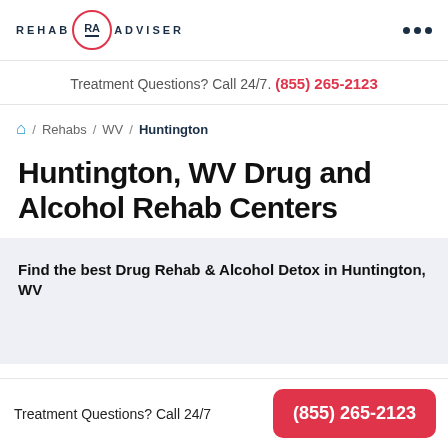REHAB RA ADVISER
Treatment Questions? Call 24/7. (855) 265-2123
/ Rehabs / WV / Huntington
Huntington, WV Drug and Alcohol Rehab Centers
Find the best Drug Rehab & Alcohol Detox in Huntington, WV
Treatment Questions? Call 24/7  (855) 265-2123